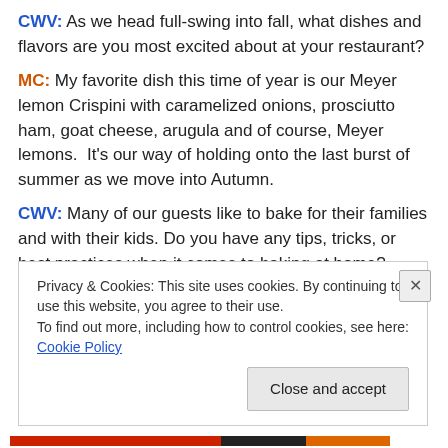CWV: As we head full-swing into fall, what dishes and flavors are you most excited about at your restaurant?
MC: My favorite dish this time of year is our Meyer lemon Crispini with caramelized onions, prosciutto ham, goat cheese, arugula and of course, Meyer lemons. It's our way of holding onto the last burst of summer as we move into Autumn.
CWV: Many of our guests like to bake for their families and with their kids. Do you have any tips, tricks, or best practices when it comes to baking at home?
Privacy & Cookies: This site uses cookies. By continuing to use this website, you agree to their use. To find out more, including how to control cookies, see here: Cookie Policy